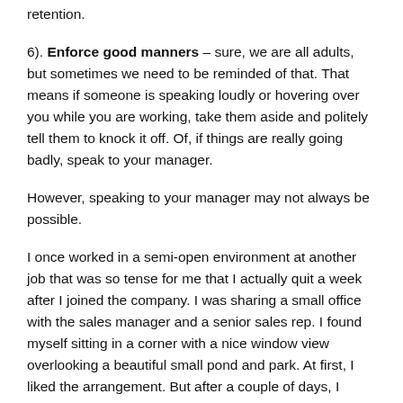retention.
6). Enforce good manners – sure, we are all adults, but sometimes we need to be reminded of that. That means if someone is speaking loudly or hovering over you while you are working, take them aside and politely tell them to knock it off. Of, if things are really going badly, speak to your manager.
However, speaking to your manager may not always be possible.
I once worked in a semi-open environment at another job that was so tense for me that I actually quit a week after I joined the company. I was sharing a small office with the sales manager and a senior sales rep. I found myself sitting in a corner with a nice window view overlooking a beautiful small pond and park. At first, I liked the arrangement. But after a couple of days, I began regretting my decision. My manager was a good ol' Southern boy who talked incessantly all day long. He